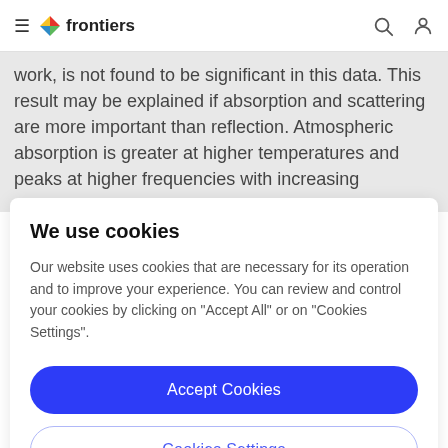frontiers
work, is not found to be significant in this data. This result may be explained if absorption and scattering are more important than reflection. Atmospheric absorption is greater at higher temperatures and peaks at higher frequencies with increasing temperature
We use cookies
Our website uses cookies that are necessary for its operation and to improve your experience. You can review and control your cookies by clicking on "Accept All" or on "Cookies Settings".
Accept Cookies
Cookies Settings